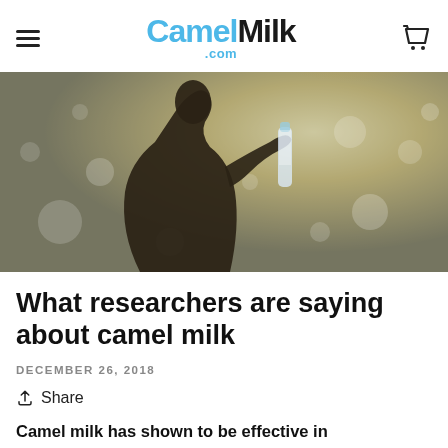CamelMilk.com
[Figure (photo): Silhouette of a person drinking from a water bottle against a bright, bokeh-lit background with sunlight and water reflections]
What researchers are saying about camel milk
DECEMBER 26, 2018
Share
Camel milk has shown to be effective in